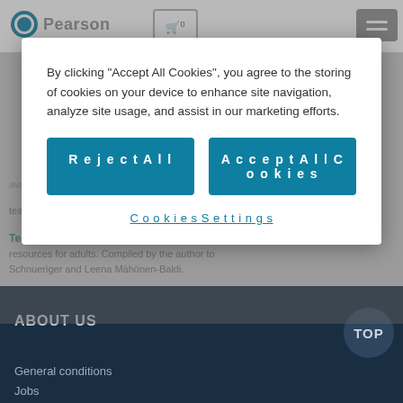[Figure (screenshot): Pearson website header with logo, cart icon, and hamburger menu]
By clicking “Accept All Cookies”, you agree to the storing of cookies on your device to enhance site navigation, analyze site usage, and assist in our marketing efforts.
Reject All
Accept All Cookies
Cookies Settings
Teacher's Book, Tests, and Audio resources for adults. Compiled by the author to Schnueriger and Leena Mähönen-Baldi.
ABOUT US
General conditions
Jobs